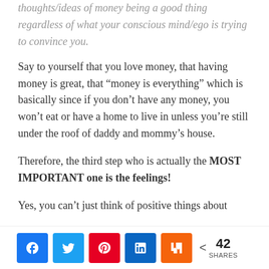thoughts/ideas of money being a good thing regardless of what your conscious mind/ego is trying to convince you.
Say to yourself that you love money, that having money is great, that “money is everything” which is basically since if you don’t have any money, you won’t eat or have a home to live in unless you’re still under the roof of daddy and mommy’s house.
Therefore, the third step who is actually the MOST IMPORTANT one is the feelings!
Yes, you can’t just think of positive things about